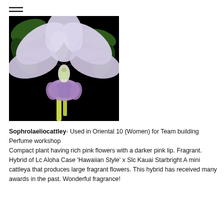[Figure (photo): Close-up photograph of a Sophrolaeliocattleya orchid flower with large pale lavender/white petals, a purple lip, and green leaves, against a black background.]
Sophrolaeliocattley- Used in Oriental 10 (Women) for Team building Perfume workshop
Compact plant having rich pink flowers with a darker pink lip. Fragrant. Hybrid of Lc Aloha Case 'Hawaiian Style' x Slc Kauai Starbright A mini cattleya that produces large fragrant flowers. This hybrid has received many awards in the past. Wonderful fragrance!